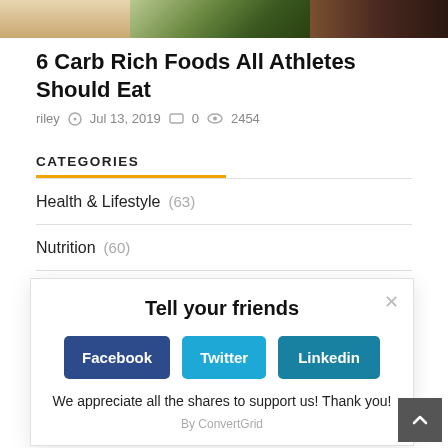[Figure (photo): Partial food photo strip at top of page showing vegetables and dark food items]
6 Carb Rich Foods All Athletes Should Eat
riley  Jul 13, 2019  0  2454
CATEGORIES
Health & Lifestyle  (63)
Nutrition  (60)
F
W
W
S
Tell your friends
Facebook  Twitter  Linkedin
We appreciate all the shares to support us! Thank you!
By ConvertGrid